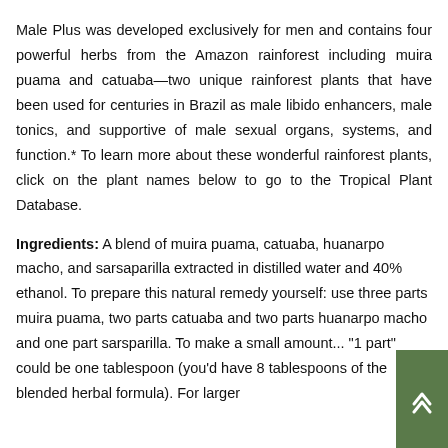Male Plus was developed exclusively for men and contains four powerful herbs from the Amazon rainforest including muira puama and catuaba—two unique rainforest plants that have been used for centuries in Brazil as male libido enhancers, male tonics, and supportive of male sexual organs, systems, and function.* To learn more about these wonderful rainforest plants, click on the plant names below to go to the Tropical Plant Database.
Ingredients: A blend of muira puama, catuaba, huanarpo macho, and sarsaparilla extracted in distilled water and 40% ethanol. To prepare this natural remedy yourself: use three parts muira puama, two parts catuaba and two parts huanarpo macho and one part sarsparilla. To make a small amount... "1 part" could be one tablespoon (you'd have 8 tablespoons of the blended herbal formula). For larger